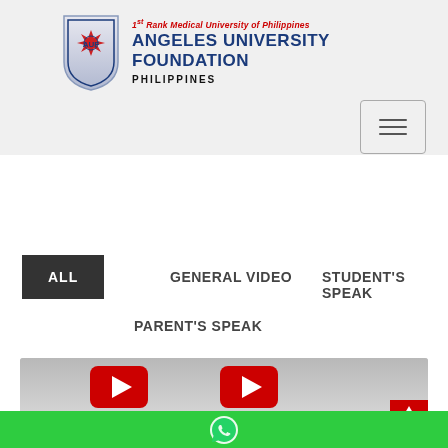[Figure (logo): Angeles University Foundation shield/crest logo with blue and red design]
1st Rank Medical University of Philippines
ANGELES UNIVERSITY FOUNDATION
PHILIPPINES
[Figure (other): Hamburger menu button with three horizontal lines]
ALL
GENERAL VIDEO
STUDENT'S SPEAK
PARENT'S SPEAK
[Figure (screenshot): Video thumbnail area showing YouTube-style play icons on gray gradient background]
[Figure (other): Green WhatsApp floating bar at the bottom with WhatsApp icon]